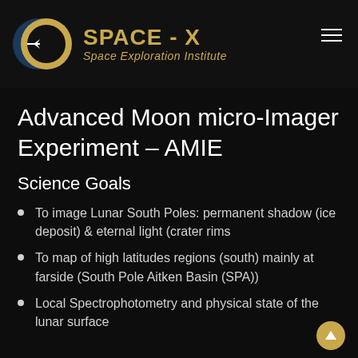SPACE - X Space Exploration Institute
Advanced Moon micro-Imager Experiment – AMIE
Science Goals
To image Lunar South Poles: permanent shadow (ice deposit) & eternal light (crater rims
To map of high latitudes regions (south) mainly at farside (South Pole Aitken Basin (SPA))
Local Spectrophotometry and physical state of the lunar surface